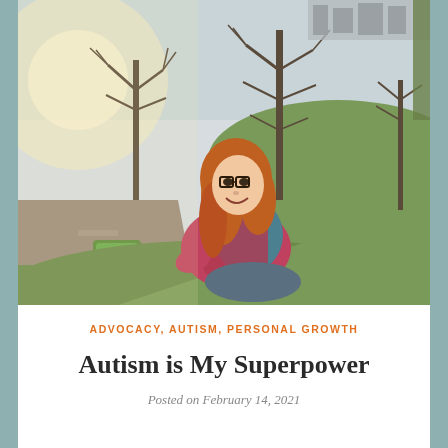[Figure (photo): Young woman with red hair and glasses, wearing a plaid jacket and teal scarf, sitting on a grassy hillside and smiling. Trees with bare branches visible in the background along with a road and green vehicle below, and a park with grass visible to the right.]
ADVOCACY, AUTISM, PERSONAL GROWTH
Autism is My Superpower
Posted on February 14, 2021